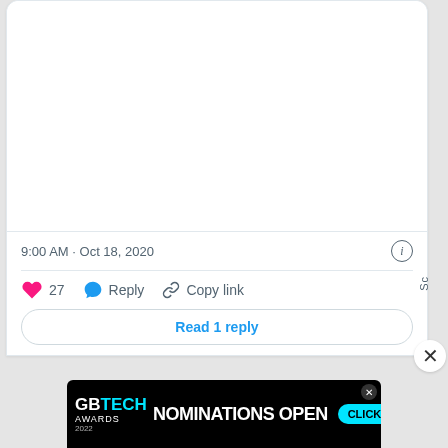[Figure (screenshot): Empty white area at top of tweet card (likely an image or blank space)]
9:00 AM · Oct 18, 2020
♥ 27   Reply   Copy link
Read 1 reply
[Figure (screenshot): GBTech Awards 2022 advertisement banner with text 'NOMINATIONS OPEN' and 'CLICK HERE' button on black background]